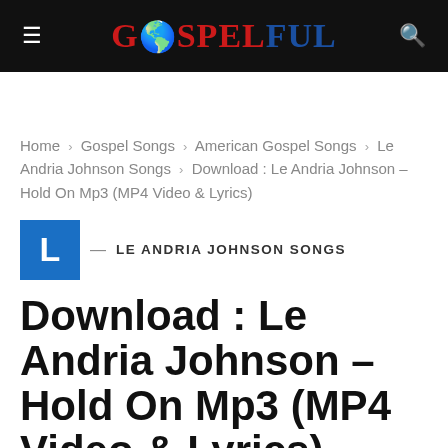GOSPELFUL
Home > Gospel Songs > American Gospel Songs > Le Andria Johnson Songs > Download : Le Andria Johnson – Hold On Mp3 (MP4 Video & Lyrics)
— LE ANDRIA JOHNSON SONGS
Download : Le Andria Johnson – Hold On Mp3 (MP4 Video & Lyrics)